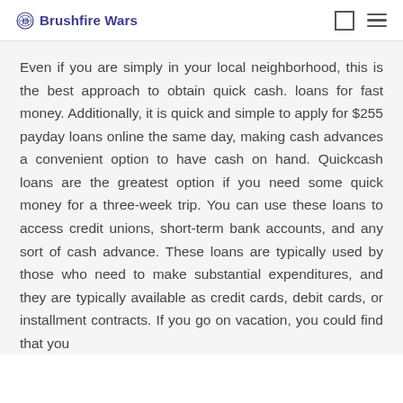Brushfire Wars
Even if you are simply in your local neighborhood, this is the best approach to obtain quick cash. loans for fast money. Additionally, it is quick and simple to apply for $255 payday loans online the same day, making cash advances a convenient option to have cash on hand. Quickcash loans are the greatest option if you need some quick money for a three-week trip. You can use these loans to access credit unions, short-term bank accounts, and any sort of cash advance. These loans are typically used by those who need to make substantial expenditures, and they are typically available as credit cards, debit cards, or installment contracts. If you go on vacation, you could find that you